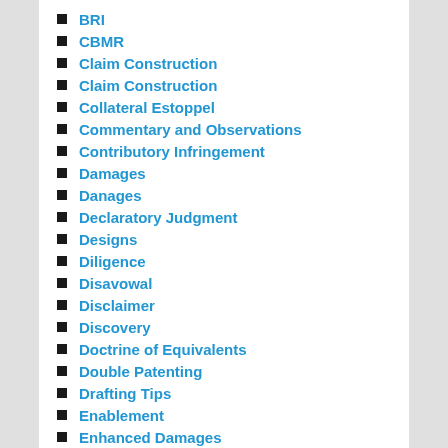BRI
CBMR
Claim Construction
Claim Construction
Collateral Estoppel
Commentary and Observations
Contributory Infringement
Damages
Danages
Declaratory Judgment
Designs
Diligence
Disavowal
Disclaimer
Discovery
Doctrine of Equivalents
Double Patenting
Drafting Tips
Enablement
Enhanced Damages
Estoppel